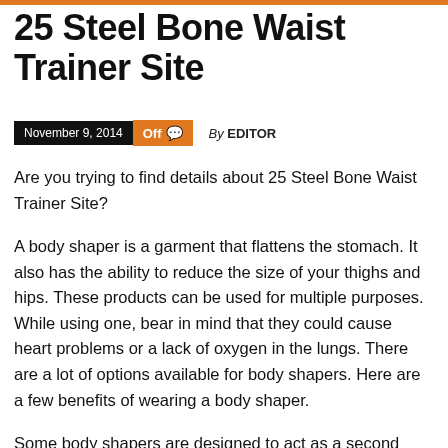25 Steel Bone Waist Trainer Site
November 9, 2014   Off   By EDITOR
Are you trying to find details about 25 Steel Bone Waist Trainer Site?
A body shaper is a garment that flattens the stomach. It also has the ability to reduce the size of your thighs and hips. These products can be used for multiple purposes. While using one, bear in mind that they could cause heart problems or a lack of oxygen in the lungs. There are a lot of options available for body shapers. Here are a few benefits of wearing a body shaper.
Some body shapers are designed to act as a second skin. These